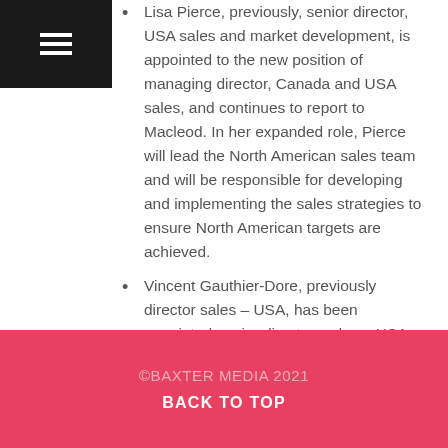menu icon / hamburger
Lisa Pierce, previously, senior director, USA sales and market development, is appointed to the new position of managing director, Canada and USA sales, and continues to report to Macleod. In her expanded role, Pierce will lead the North American sales team and will be responsible for developing and implementing the sales strategies to ensure North American targets are achieved.
Vincent Gauthier-Dore, previously director sales – USA, has been appointed senior director, sales – USA, replacing Pierce in her previous role and continuing to report to her. In his new role Gauthier-Dore will lead the USA sales team and will be responsible for delivering the USA origin sales targets.
©BAXTER MEDIA 2021
BACK TO TOP